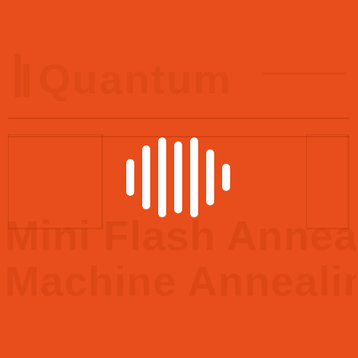[Figure (logo): Orange background cover page with large watermark text showing 'Quantum', 'Mini Flash Annealing', 'Machine Annealing' in darker orange, and a centered white audio waveform icon consisting of 7 vertical bars of varying heights forming a sound wave pattern.]